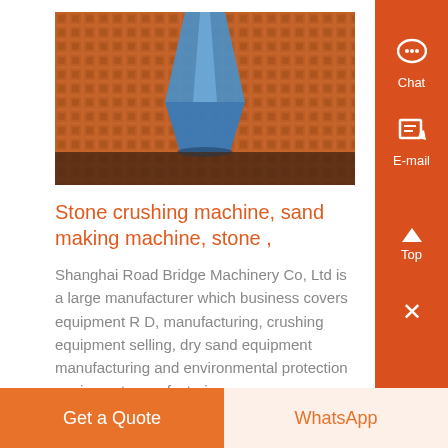[Figure (photo): Close-up photo of an industrial mesh/screen with a blue funnel or hopper in the center, set against an orange/red textured background — likely a stone crushing or sand-making machine screen]
Stone crushing machine, sand making machine, stone ,
Shanghai Road Bridge Machinery Co, Ltd is a large manufacturer which business covers equipment R D, manufacturing, crushing equipment selling, dry sand equipment manufacturing and environmental protection equipment manufacturing..
Know More